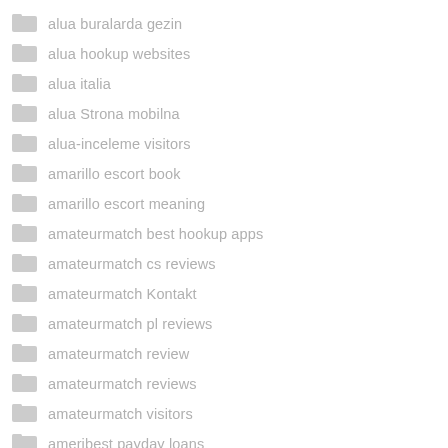alua buralarda gezin
alua hookup websites
alua italia
alua Strona mobilna
alua-inceleme visitors
amarillo escort book
amarillo escort meaning
amateurmatch best hookup apps
amateurmatch cs reviews
amateurmatch Kontakt
amateurmatch pl reviews
amateurmatch review
amateurmatch reviews
amateurmatch visitors
ameribest payday loans